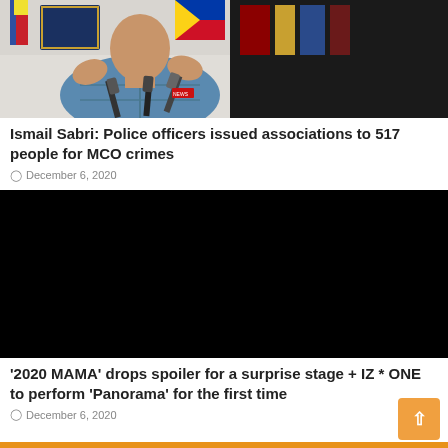[Figure (photo): Press conference photo of Ismail Sabri gesturing with hands, microphones in foreground, flags and official plaques in background]
Ismail Sabri: Police officers issued associations to 517 people for MCO crimes
December 6, 2020
[Figure (photo): Black video thumbnail placeholder]
'2020 MAMA' drops spoiler for a surprise stage + IZ * ONE to perform 'Panorama' for the first time
December 6, 2020